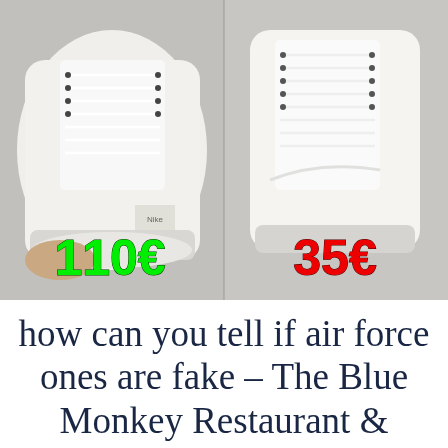[Figure (photo): Side-by-side photo of two white Nike Air Force One sneakers. The left shoe is labeled with a green price tag '110€' and the right shoe is labeled with a red price tag '35€', suggesting one is authentic and one is a fake/counterfeit.]
how can you tell if air force ones are fake – The Blue Monkey Restaurant & Pizzeria